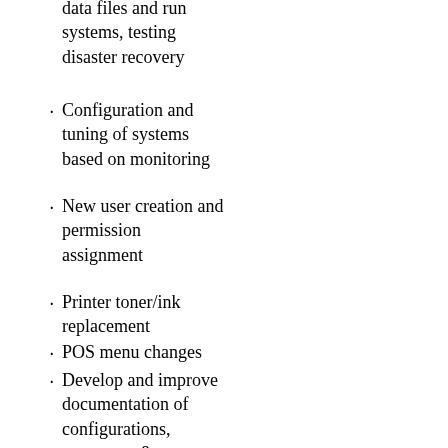data files and run systems, testing disaster recovery
Configuration and tuning of systems based on monitoring
New user creation and permission assignment
Printer toner/ink replacement
POS menu changes
Develop and improve documentation of configurations, processes, & procedures
Unplanned / Recovery work
“Problems cause